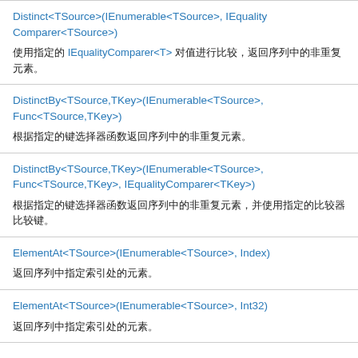Distinct<TSource>(IEnumerable<TSource>, IEqualityComparer<TSource>)
使用指定的 IEqualityComparer<T> 对值进行比较，返回序列中的非重复元素。
DistinctBy<TSource,TKey>(IEnumerable<TSource>, Func<TSource,TKey>)
根据指定的键选择器函数返回序列中的非重复元素。
DistinctBy<TSource,TKey>(IEnumerable<TSource>, Func<TSource,TKey>, IEqualityComparer<TKey>)
根据指定的键选择器函数返回序列中的非重复元素，并使用指定的比较器比较键。
ElementAt<TSource>(IEnumerable<TSource>, Index)
返回序列中指定索引处的元素。
ElementAt<TSource>(IEnumerable<TSource>, Int32)
返回序列中指定索引处的元素。